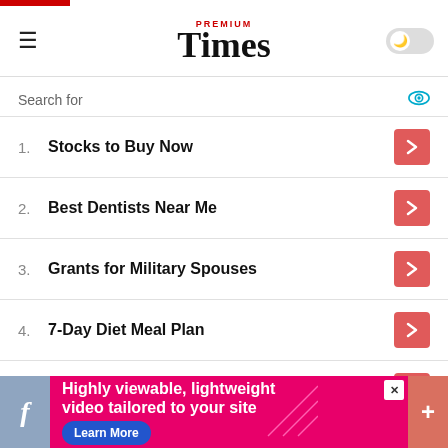PREMIUM Times
Search for
1. Stocks to Buy Now
2. Best Dentists Near Me
3. Grants for Military Spouses
4. 7-Day Diet Meal Plan
5. Biotech Stocks to Buy
Yahoo! Search | Sponsored
“The quantity and value of the counterfeit released into the market is four times that of his own brand. The counterfeit
[Figure (screenshot): Bottom advertisement banner: Highly viewable, lightweight video tailored to your site. Learn More button. Facebook icon on left, plus icon on right.]